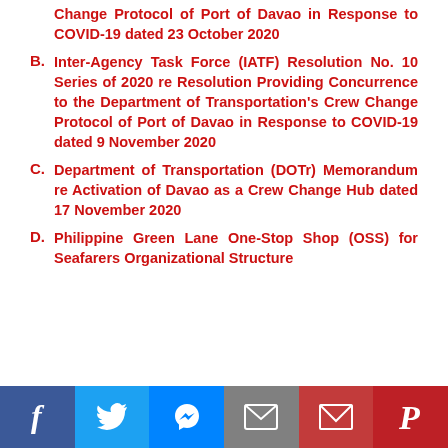Change Protocol of Port of Davao in Response to COVID-19 dated 23 October 2020
B. Inter-Agency Task Force (IATF) Resolution No. 10 Series of 2020 re Resolution Providing Concurrence to the Department of Transportation's Crew Change Protocol of Port of Davao in Response to COVID-19 dated 9 November 2020
C. Department of Transportation (DOTr) Memorandum re Activation of Davao as a Crew Change Hub dated 17 November 2020
D. Philippine Green Lane One-Stop Shop (OSS) for Seafarers Organizational Structure